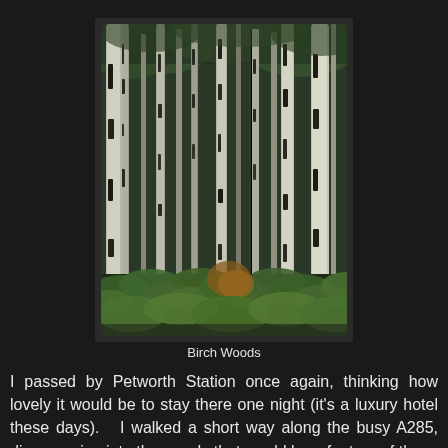[Figure (photo): Photograph of a birch wood forest with tall white-barked birch trees and green ferns on the forest floor]
Birch Woods
I passed by Petworth Station once again, thinking how lovely it would be to stay there one night (it's a luxury hotel these days). I walked a short way along the busy A285, disappearing into the woods that would be a feature of the